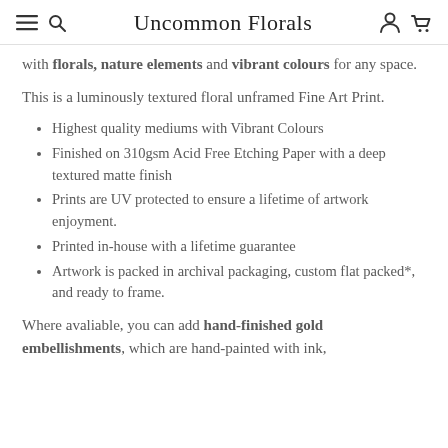≡  Q  Uncommon Florals  ○  ⊓
with florals, nature elements and vibrant colours for any space.
This is a luminously textured floral unframed Fine Art Print.
Highest quality mediums with Vibrant Colours
Finished on 310gsm Acid Free Etching Paper with a deep textured matte finish
Prints are UV protected to ensure a lifetime of artwork enjoyment.
Printed in-house with a lifetime guarantee
Artwork is packed in archival packaging, custom flat packed*, and ready to frame.
Where avaliable, you can add hand-finished gold embellishments, which are hand-painted with ink,